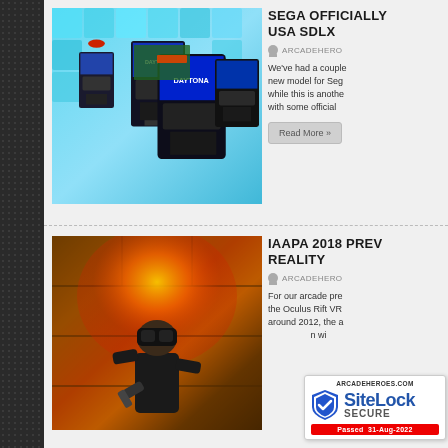[Figure (photo): Daytona USA SDLX arcade machines in a row with glowing blue cube backdrop]
SEGA OFFICIALLY USA SDLX
ARCADEHERO
We've had a couple new model for Seg while this is anothe with some official
Read More »
[Figure (photo): Person wearing VR headset holding a gun controller in a fiery stone corridor scene]
IAAPA 2018 PREV REALITY
ARCADEHERO
For our arcade pre the Oculus Rift VR around 2012, the a n wi
[Figure (logo): SiteLock SECURE badge showing ARCADEHEROES.COM, shield with checkmark, and Passed 31-Aug-2022]